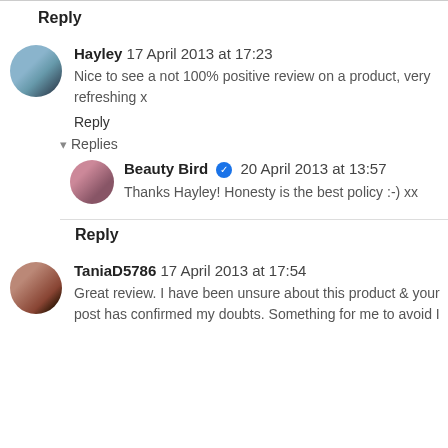Reply
Hayley 17 April 2013 at 17:23
Nice to see a not 100% positive review on a product, very refreshing x
Reply
Replies
Beauty Bird ✓ 20 April 2013 at 13:57
Thanks Hayley! Honesty is the best policy :-) xx
Reply
TaniaD5786 17 April 2013 at 17:54
Great review. I have been unsure about this product & your post has confirmed my doubts. Something for me to avoid I